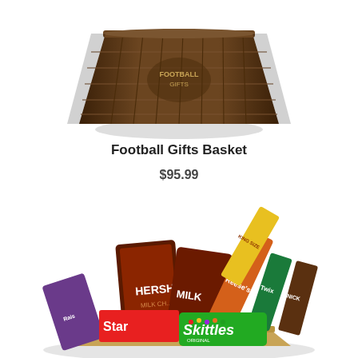[Figure (photo): A dark brown wicker football gifts basket photographed from a slightly elevated angle, showing the woven texture and a decorative football-themed emblem on the front, with a shadow beneath it on a white background.]
Football Gifts Basket
$95.99
[Figure (photo): A large candy gift basket filled with assorted candies and chocolates including Hershey's Milk Chocolate, Reese's, Skittles, Starburst, Raisinets, Twix, Snickers, and other king-size candy bars, arranged in a wicker-style basket.]